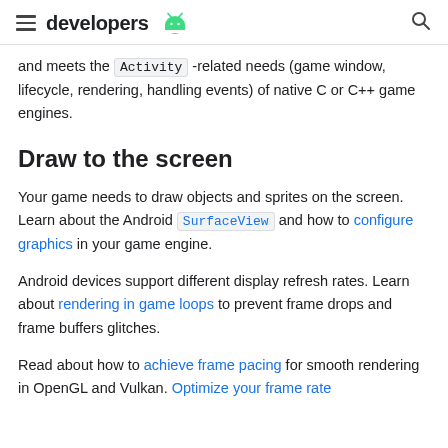developers
and meets the Activity-related needs (game window, lifecycle, rendering, handling events) of native C or C++ game engines.
Draw to the screen
Your game needs to draw objects and sprites on the screen. Learn about the Android SurfaceView and how to configure graphics in your game engine.
Android devices support different display refresh rates. Learn about rendering in game loops to prevent frame drops and frame buffers glitches.
Read about how to achieve frame pacing for smooth rendering in OpenGL and Vulkan. Optimize your frame rate